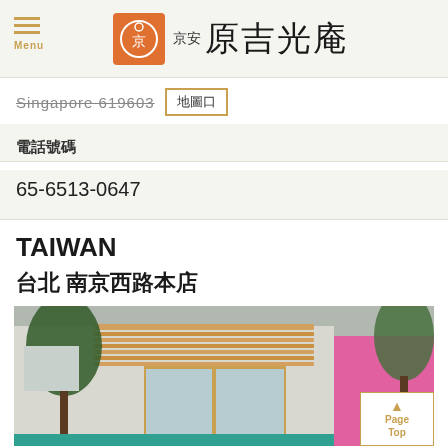Menu 京安原吉光庵
Singapore 619603 地圖口
電話號碼
65-6513-0647
TAIWAN
台北 南京西路本店
[Figure (photo): Exterior storefront photo of the 台北 南京西路本店 location, showing a building facade with horizontal slatted awning, glass entrance doors, trees, and a pink adjacent building.]